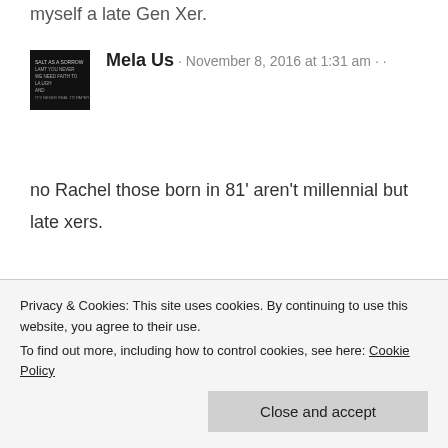myself a late Gen Xer.
Mela Us · November 8, 2016 at 1:31 am
no Rachel those born in 81' aren't millennial but late xers.
Melissa Giordano · January
Privacy & Cookies: This site uses cookies. By continuing to use this website, you agree to their use.
To find out more, including how to control cookies, see here: Cookie Policy
Close and accept